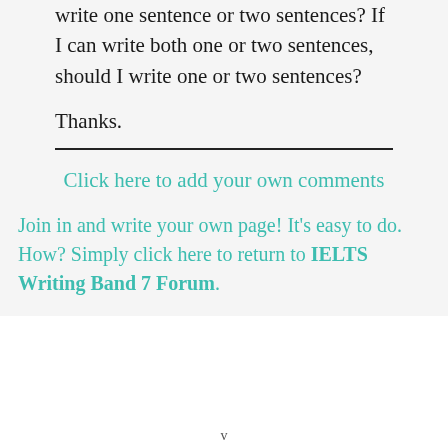write one sentence or two sentences? If I can write both one or two sentences, should I write one or two sentences?
Thanks.
Click here to add your own comments
Join in and write your own page! It's easy to do. How? Simply click here to return to IELTS Writing Band 7 Forum.
v